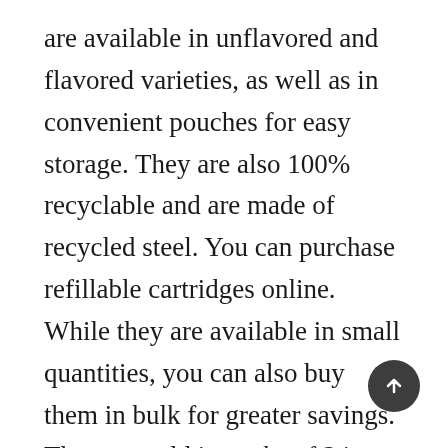are available in unflavored and flavored varieties, as well as in convenient pouches for easy storage. They are also 100% recyclable and are made of recycled steel. You can purchase refillable cartridges online. While they are available in small quantities, you can also buy them in bulk for greater savings. They are sold in packs of 24 or 50 pieces, and are backordered for a few days.
Mosa cream chargers are convenient and can whip cream for desserts or hot